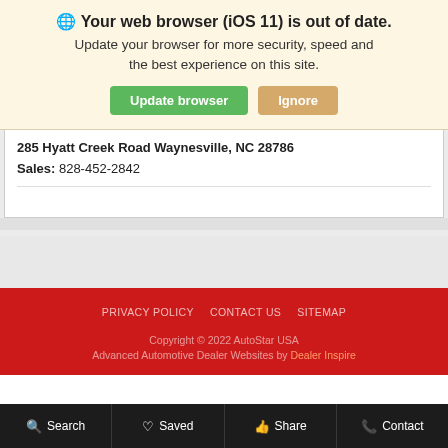🌐 Your web browser (iOS 11) is out of date. Update your browser for more security, speed and the best experience on this site.
Update browser | Ignore
285 Hyatt Creek Road Waynesville, NC 28786
Sales: 828-452-2842
PRIVACY POLICY   CONTACT US   SITEMAP
Copyright © 2022 AutoStar USA
Advanced Automotive Dealer Websites by Dealer Inspire
Search   Saved   Share   Contact